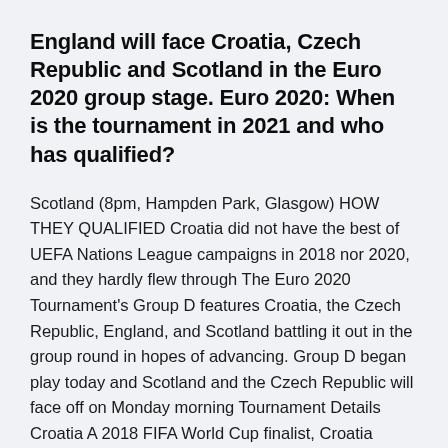England will face Croatia, Czech Republic and Scotland in the Euro 2020 group stage. Euro 2020: When is the tournament in 2021 and who has qualified?
Scotland (8pm, Hampden Park, Glasgow) HOW THEY QUALIFIED Croatia did not have the best of UEFA Nations League campaigns in 2018 nor 2020, and they hardly flew through The Euro 2020 Tournament's Group D features Croatia, the Czech Republic, England, and Scotland battling it out in the group round in hopes of advancing. Group D began play today and Scotland and the Czech Republic will face off on Monday morning Tournament Details Croatia A 2018 FIFA World Cup finalist, Croatia remains one of... With the UEFA